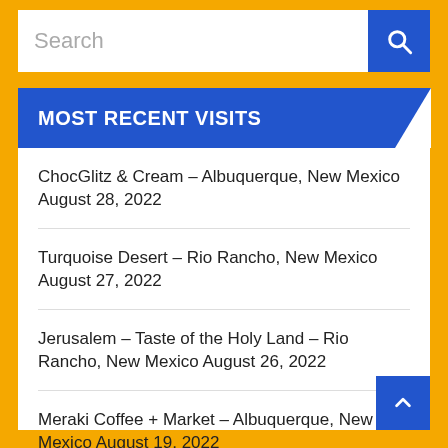Search
MOST RECENT VISITS
ChocGlitz & Cream – Albuquerque, New Mexico August 28, 2022
Turquoise Desert – Rio Rancho, New Mexico August 27, 2022
Jerusalem – Taste of the Holy Land – Rio Rancho, New Mexico August 26, 2022
Meraki Coffee + Market – Albuquerque, New Mexico August 19, 2022